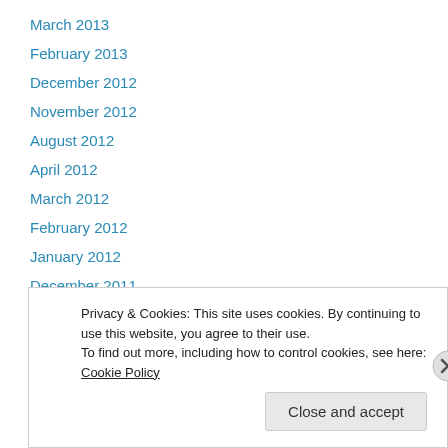March 2013
February 2013
December 2012
November 2012
August 2012
April 2012
March 2012
February 2012
January 2012
December 2011
November 2011
October 2011
July 2011
Privacy & Cookies: This site uses cookies. By continuing to use this website, you agree to their use.
To find out more, including how to control cookies, see here: Cookie Policy
Close and accept